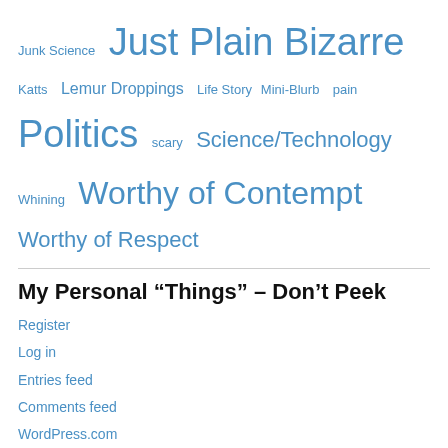Junk Science  Just Plain Bizarre  Katts  Lemur Droppings  Life Story  Mini-Blurb  pain  Politics  scary  Science/Technology  Whining  Worthy of Contempt  Worthy of Respect
My Personal “Things” – Don’t Peek
Register
Log in
Entries feed
Comments feed
WordPress.com
FAIR USE NOTICE: This website (blog) may contain copyrighted material the use of which has not been pre-authorized by the copyright owner. Such material is made available to advance understanding of political, economic, scientific, social, art, media, religious and cultural issues. The ‘fair use’ of any such copyrighted material that may exist on